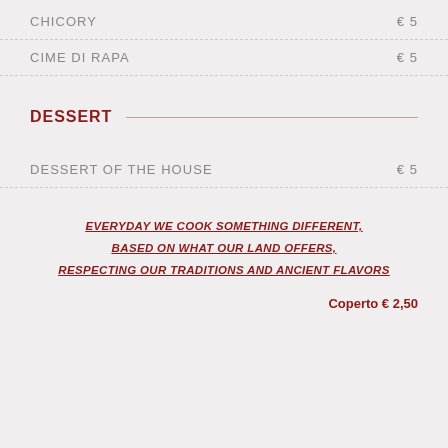CHICORY  € 5
CIME DI RAPA  € 5
DESSERT
DESSERT OF THE HOUSE  € 5
EVERYDAY WE COOK SOMETHING DIFFERENT, BASED ON WHAT OUR LAND OFFERS, RESPECTING OUR TRADITIONS AND ANCIENT FLAVORS
Coperto € 2,50